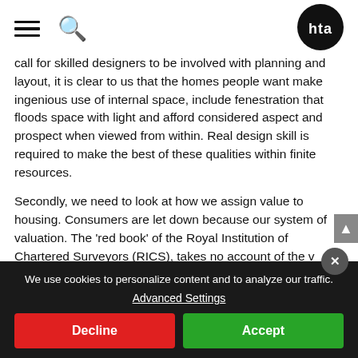[Hamburger menu] [Search icon] hta logo
call for skilled designers to be involved with planning and layout, it is clear to us that the homes people want make ingenious use of internal space, include fenestration that floods space with light and afford considered aspect and prospect when viewed from within. Real design skill is required to make the best of these qualities within finite resources.
Secondly, we need to look at how we assign value to housing. Consumers are let down because our system of valuation. The 'red book' of the Royal Institution of Chartered Surveyors (RICS), takes no account of the v
We use cookies to personalize content and to analyze our traffic. Advanced Settings
Decline
Accept